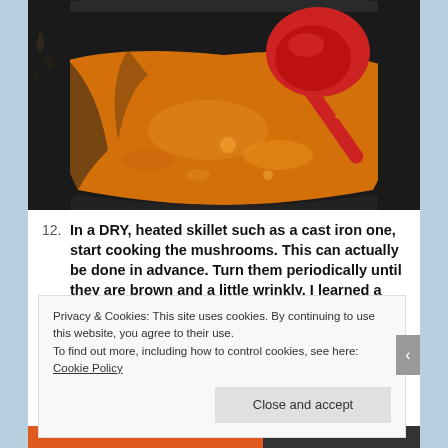[Figure (photo): A black slow cooker/crock pot containing orange-colored soup or sauce, with a red ladle or spoon resting in it.]
12. In a DRY, heated skillet such as a cast iron one, start cooking the mushrooms. This can actually be done in advance. Turn them periodically until they are brown and a little wrinkly. I learned a long time ago
Privacy & Cookies: This site uses cookies. By continuing to use this website, you agree to their use.
To find out more, including how to control cookies, see here: Cookie Policy
Close and accept